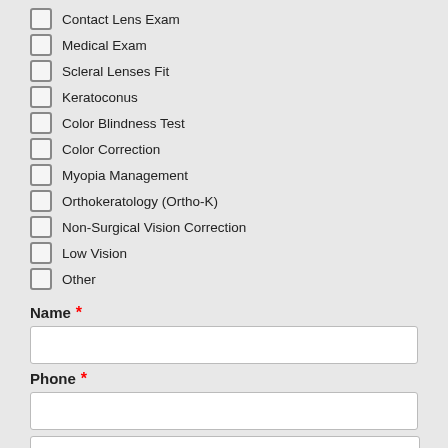Contact Lens Exam
Medical Exam
Scleral Lenses Fit
Keratoconus
Color Blindness Test
Color Correction
Myopia Management
Orthokeratology (Ortho-K)
Non-Surgical Vision Correction
Low Vision
Other
Name *
Phone *
Request a Consultation